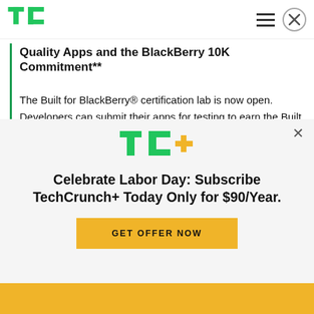TechCrunch logo, hamburger menu, close button
Quality Apps and the BlackBerry 10K Commitment**
The Built for BlackBerry® certification lab is now open. Developers can submit their apps for testing to earn the Built for BlackBerry designation, which will signify a high-level of quality for customers. Developers can submit an app for Built for BlackBerry certification once the app has been
[Figure (logo): TechCrunch+ logo (TC+ in green and yellow)]
Celebrate Labor Day: Subscribe TechCrunch+ Today Only for $90/Year.
GET OFFER NOW